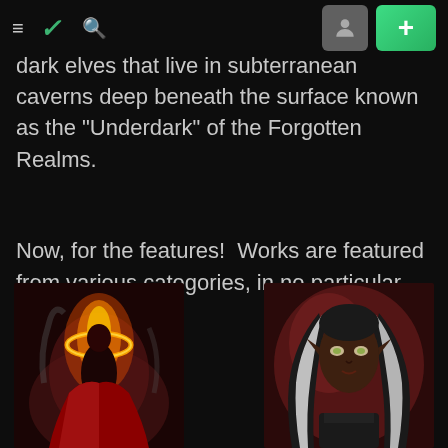[DeviantArt navigation bar with hamburger menu, DeviantArt logo, search icon, profile icon, and + button]
dark elves that live in subterranean caverns deep beneath the surface known as the "Underdark" of the Forgotten Realms.
Now, for the features!  Works are featured from various categories, in no particular order:
[Figure (illustration): Fantasy illustration of a demonic female figure in red robes with flaming golden ring, set against a dark smoky background]
[Figure (illustration): Portrait of a dark elf female character with long black and white striped hair, pointed ears, and glowing eyes against a dark red background]